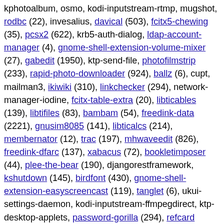kphotoalbum, osmo, kodi-inputstream-rtmp, mugshot, rodbc (22), invesalius, davical (503), fcitx5-chewing (35), pcsx2 (622), krb5-auth-dialog, ldap-account-manager (4), gnome-shell-extension-volume-mixer (27), gabedit (1950), ktp-send-file, photofilmstrip (233), rapid-photo-downloader (924), ballz (6), cupt, mailman3, ikiwiki (310), linkchecker (294), network-manager-iodine, fcitx-table-extra (20), libticables (139), libtifiles (83), bambam (54), freedink-data (2221), gnusim8085 (141), libticalcs (214), membernator (12), trac (197), mhwaveedit (826), freedink-dfarc (137), xabacus (72), bookletimposer (44), plee-the-bear (190), djangorestframework, kshutdown (145), birdfont (430), gnome-shell-extension-easyscreencast (119), tanglet (6), ukui-settings-daemon, kodi-inputstream-ffmpegdirect, ktp-desktop-applets, password-gorilla (294), refcard (188), unknown-horizons (27), ktp-filetransfer-handler, udevil (215), ktp-auth-handler, ktp-kded-integration-module, blockattack (170), ktp-accounts-kcm, gitmagic, kodi-pvr-hts, meritous (164), biometric-authentication, clawsker (281),